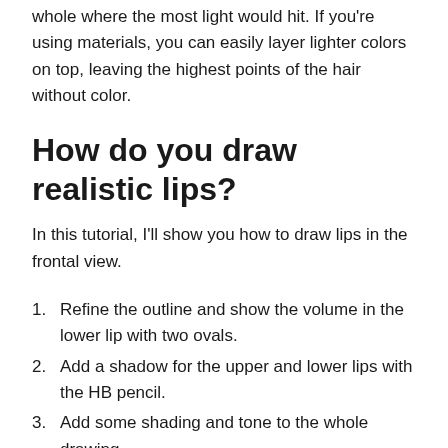whole where the most light would hit. If you're using materials, you can easily layer lighter colors on top, leaving the highest points of the hair without color.
How do you draw realistic lips?
In this tutorial, I'll show you how to draw lips in the frontal view.
Refine the outline and show the volume in the lower lip with two ovals.
Add a shadow for the upper and lower lips with the HB pencil.
Add some shading and tone to the whole drawing.
Add the lines on the lips.